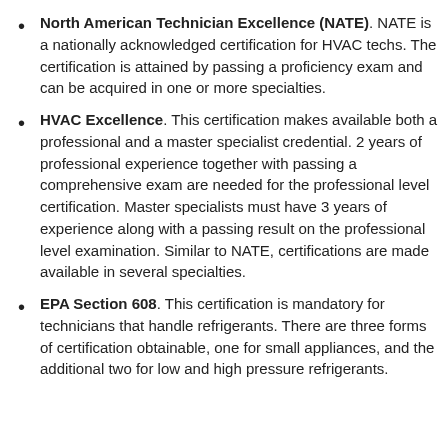North American Technician Excellence (NATE). NATE is a nationally acknowledged certification for HVAC techs. The certification is attained by passing a proficiency exam and can be acquired in one or more specialties.
HVAC Excellence. This certification makes available both a professional and a master specialist credential. 2 years of professional experience together with passing a comprehensive exam are needed for the professional level certification. Master specialists must have 3 years of experience along with a passing result on the professional level examination. Similar to NATE, certifications are made available in several specialties.
EPA Section 608. This certification is mandatory for technicians that handle refrigerants. There are three forms of certification obtainable, one for small appliances, and the additional two for low and high pressure refrigerants.